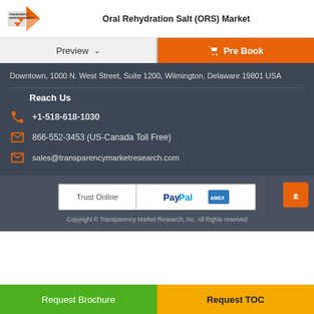Oral Rehydration Salt (ORS) Market
Preview
Pre Book
Downtown, 1000 N. West Street, Suite 1200, Wilmington, Delaware 19801 USA
Reach Us
+1-518-618-1030
866-552-3453 (US-Canada Toll Free)
sales@transparencymarketresearch.com
Trust Online
Copyright © Transparency Market Research, Inc. All Rights reserved
Request Brochure
Request TOC